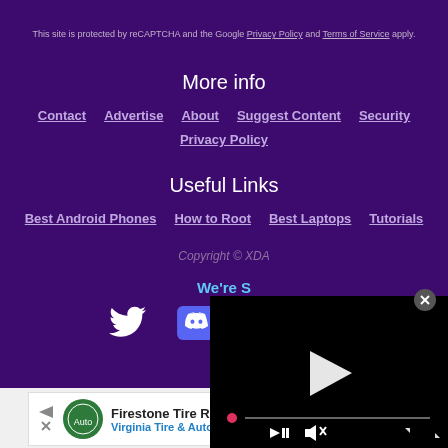This site is protected by reCAPTCHA and the Google Privacy Policy and Terms of Service apply.
More info
Contact
Advertise
About
Suggest Content
Security
Privacy Policy
Useful Links
Best Android Phones
How to Root
Best Laptops
Tutorials
Copyright © XDA
We're S...
[Figure (screenshot): Social media icons: Twitter, Discord, Facebook, and another icon partially visible]
[Figure (screenshot): Video player overlay with play button, seek bar with red dot, skip/mute controls, and fullscreen button on black background]
[Figure (screenshot): Advertisement for Firestone Tire Rebate - Virginia Tire & Auto of Ashburn with green logo and blue direction arrow icon]